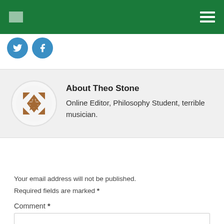[Figure (illustration): Green navigation bar with small white logo top-left and hamburger menu icon top-right]
[Figure (illustration): Two blue circular social media share/like buttons]
About Theo Stone
Online Editor, Philosophy Student, terrible musician.
Your email address will not be published.
Required fields are marked *
Comment *